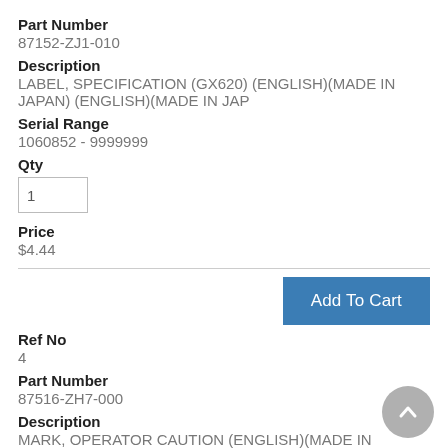Part Number
87152-ZJ1-010
Description
LABEL, SPECIFICATION (GX620) (ENGLISH)(MADE IN JAPAN) (ENGLISH)(MADE IN JAP
Serial Range
1060852 - 9999999
Qty
1
Price
$4.44
Add To Cart
Ref No
4
Part Number
87516-ZH7-000
Description
MARK, OPERATOR CAUTION (ENGLISH)(MADE IN